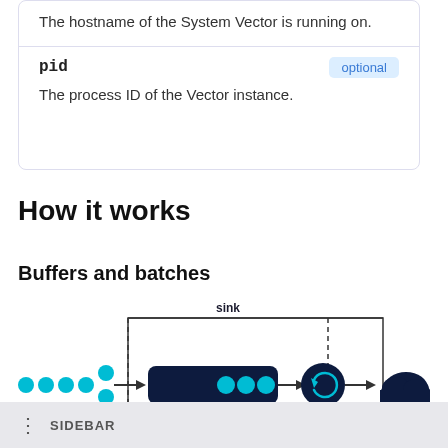| Field | Type |
| --- | --- |
| (hostname text - running on.) |  |
| pid | optional |
| The process ID of the Vector instance. |  |
How it works
Buffers and batches
[Figure (engineering-diagram): Diagram showing data flow: cyan dots (events) flow right via arrow into a dark buffer box (with three cyan dots inside), then arrow to a circular refresh/process icon, then arrow past a dashed vertical line to a cloud icon. A dashed rectangle labeled 'sink' at top encloses the buffer, process icon, and the area between the dashed lines.]
SIDEBAR